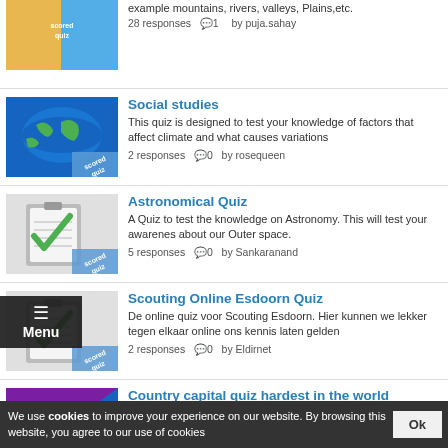example mountains, rivers, valleys, Plains,etc.
28 responses  C)1  by puja.sahay
Social studies
This quiz is designed to test your knowledge of factors that affect climate and what causes variations
2 responses  C)0  by rosequeen
Astronomical Quiz
A Quiz to test the knowledge on Astronomy. This will test your awarenes about our Outer space.
5 responses  C)0  by Sankaranand
Scouting Online Esdoorn Quiz
De online quiz voor Scouting Esdoorn. Hier kunnen we lekker tegen elkaar online ons kennis laten gelden
2 responses  C)0  by Eldirnet
Country capital quiz hardest in the world
World geographics-country capitals And can you get 8 out of 10 and can you guess all capitals
3 responses  C)0  by Kushalkushi
How much do you know about communism?
We use cookies to improve your experience on our website. By browsing this website, you agree to our use of cookies